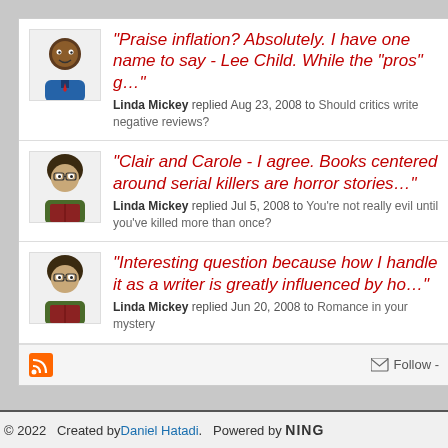"Praise inflation? Absolutely. I have one name to say - Lee Child. While the "pros" g…"
Linda Mickey replied Aug 23, 2008 to Should critics write negative reviews?
"Clair and Carole - I agree. Books centered around serial killers are horror stories…"
Linda Mickey replied Jul 5, 2008 to You're not really evil until you've killed more than once?
"Interesting question because how I handle it as a writer is greatly influenced by ho…"
Linda Mickey replied Jun 20, 2008 to Romance in your mystery
© 2022   Created by Daniel Hatadi.   Powered by NING